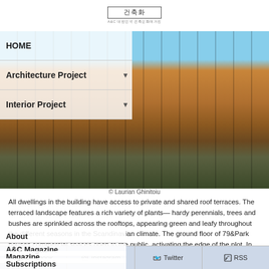[Figure (logo): Korean architecture magazine logo with box border and Korean characters]
[Figure (photo): Exterior photo of 79&Park building with wooden slat facade, balconies, and blue sky]
HOME
Architecture Project
Interior Project
© Laurian Ghinitoiu
All dwellings in the building have access to private and shared roof terraces. The terraced landscape features a rich variety of plants— hardy perennials, trees and bushes are sprinkled across the rooftops, appearing green and leafy throughout the different seasons in the Scandinavian climate. The ground floor of 79&Park houses commercial spaces open to the public, activating the edge of the plot. In the floors above, residents enjoy views to the expansive, peaceful landscape of Gärdet's wild grasslands and heaths.
About
A&C Magazine
Magazine
Subscriptions
Facebook    Instagram    Twitter    RSS